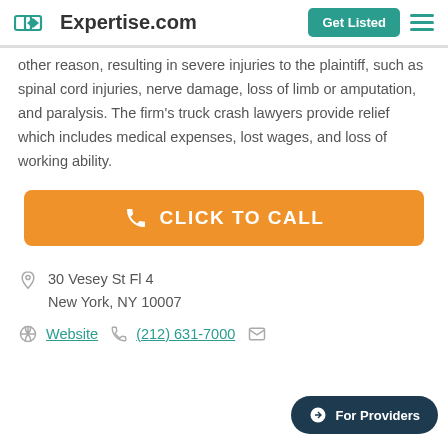Expertise.com | Get Listed
other reason, resulting in severe injuries to the plaintiff, such as spinal cord injuries, nerve damage, loss of limb or amputation, and paralysis. The firm's truck crash lawyers provide relief which includes medical expenses, lost wages, and loss of working ability.
[Figure (other): Orange 'CLICK TO CALL' button with phone icon]
30 Vesey St Fl 4
New York, NY 10007
Website  (212) 631-7000